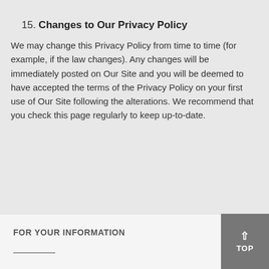15. Changes to Our Privacy Policy
We may change this Privacy Policy from time to time (for example, if the law changes). Any changes will be immediately posted on Our Site and you will be deemed to have accepted the terms of the Privacy Policy on your first use of Our Site following the alterations. We recommend that you check this page regularly to keep up-to-date.
FOR YOUR INFORMATION